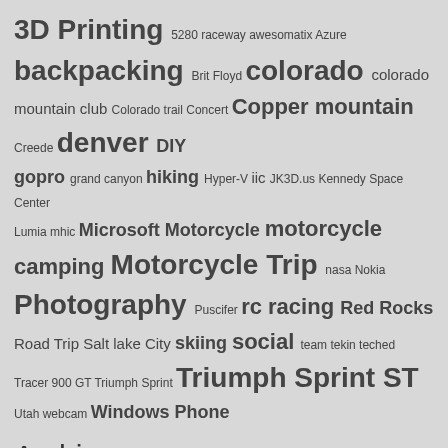3D Printing 5280 raceway awesomatix Azure backpacking Brit Floyd colorado colorado mountain club Colorado trail Concert Copper mountain Creede denver DIY gopro grand canyon hiking Hyper-V iic JK3D.us Kennedy Space Center Lumia mhic Microsoft Motorcycle motorcycle camping Motorcycle Trip nasa Nokia Photography Puscifer rc racing Red Rocks Road Trip Salt lake City skiing social team tekin teched Tracer 900 GT Triumph Sprint Triumph Sprint ST Utah webcam Windows Phone
Archives
October 2021
August 2021
April 2021
March 2021